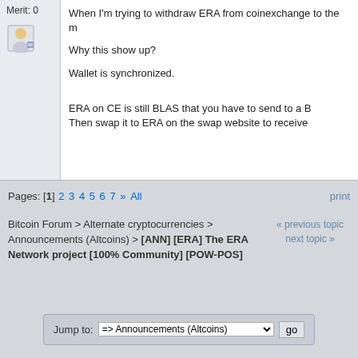Merit: 0
When I'm trying to withdraw ERA from coinexchange to the m
Why this show up?
Wallet is synchronized.
ERA on CE is still BLAS that you have to send to a B
Then swap it to ERA on the swap website to receive
Pages: [1] 2 3 4 5 6 7 » All
print
Bitcoin Forum > Alternate cryptocurrencies > Announcements (Altcoins) > [ANN] [ERA] The ERA Network project [100% Community] [POW-POS]
« previous topic next topic »
Jump to: => Announcements (Altcoins)  go
Powered by SMF 1.1.19 | SMF © 2006-2009, Simple Machines